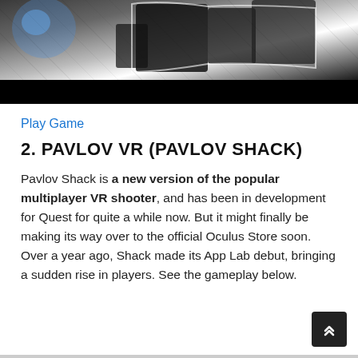[Figure (screenshot): Screenshot of a VR game showing a character with dark equipment and outfit against a light background, with a black bar below the image.]
Play Game
2. PAVLOV VR (PAVLOV SHACK)
Pavlov Shack is a new version of the popular multiplayer VR shooter, and has been in development for Quest for quite a while now. But it might finally be making its way over to the official Oculus Store soon. Over a year ago, Shack made its App Lab debut, bringing a sudden rise in players. See the gameplay below.